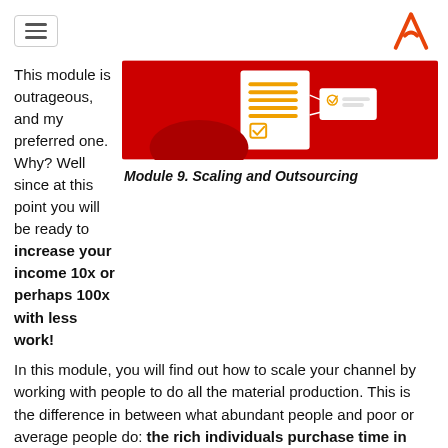[hamburger menu] [logo A]
This module is outrageous, and my preferred one. Why? Well since at this point you will be ready to increase your income 10x or perhaps 100x with less work!
[Figure (illustration): Red background illustration showing document/checklist icons with orange and white colors representing a module graphic for Scaling and Outsourcing.]
Module 9. Scaling and Outsourcing
In this module, you will find out how to scale your channel by working with people to do all the material production. This is the difference in between what abundant people and poor or average people do: the rich individuals purchase time in exchange for their cash, while the rest